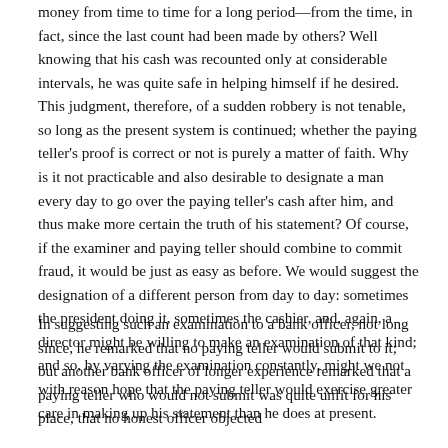money from time to time for a long period—from the time, in fact, since the last count had been made by others? Well knowing that his cash was recounted only at considerable intervals, he was quite safe in helping himself if he desired. This judgment, therefore, of a sudden robbery is not tenable, so long as the present system is continued; whether the paying teller's proof is correct or not is purely a matter of faith. Why is it not practicable and also desirable to designate a man every day to go over the paying teller's cash after him, and thus make more certain the truth of his statement? Of course, if the examiner and paying teller should combine to commit fraud, it would be just as easy as before. We would suggest the designation of a different person from day to day: sometimes the president doing it, sometimes the cashier, and, again, a director might be willing to make an examination of that kind; and so, by varying the examination constantly, might we not with reason hope that the paying teller would exercise greater care in making up his statement than he does at present.
In suggesting such an examination to a bank officer, not long since, he remarked that no paying teller would submit to it; but another bank officer of longer experience remarked that a paying teller who would not submit was quite unfit for his place, that no honest officer objected